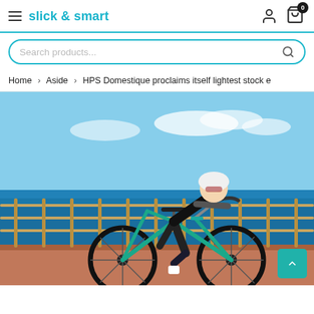slick & smart
Search products...
Home > Aside > HPS Domestique proclaims itself lightest stock e
[Figure (photo): A male cyclist wearing dark cycling kit, white helmet, and sunglasses rides a teal/green road bicycle along a seafront promenade with a metal railing and blue ocean in the background.]